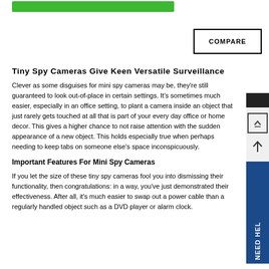COMPARE
Tiny Spy Cameras Give Keen Versatile Surveillance
Clever as some disguises for mini spy cameras may be, they're still guaranteed to look out-of-place in certain settings. It's sometimes much easier, especially in an office setting, to plant a camera inside an object that just rarely gets touched at all that is part of your every day office or home decor. This gives a higher chance to not raise attention with the sudden appearance of a new object. This holds especially true when perhaps needing to keep tabs on someone else's space inconspicuously.
Important Features For Mini Spy Cameras
If you let the size of these tiny spy cameras fool you into dismissing their functionality, then congratulations: in a way, you've just demonstrated their effectiveness. After all, it's much easier to swap out a power cable than a regularly handled object such as a DVD player or alarm clock.